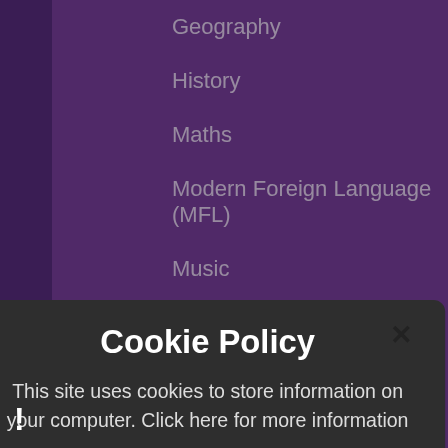Geography
History
Maths
Modern Foreign Language (MFL)
Music
PE and Sport at Receivers
Cookie Policy
This site uses cookies to store information on your computer. Click here for more information
Allow Cookies
Deny Cookies